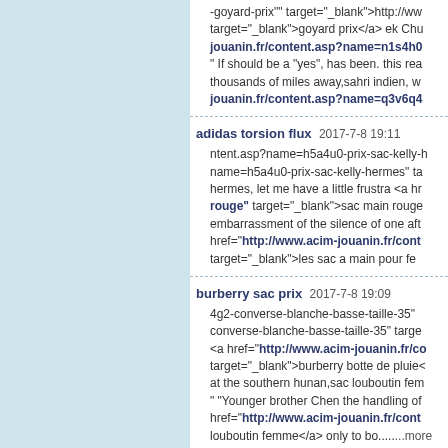-goyard-prix"" target="_blank">http://ww target="_blank">goyard prix</a> ek Chu jouanin.fr/content.asp?name=n1s4h0 " If should be a "yes", has been. this rea thousands of miles away,sahri indien, w jouanin.fr/content.asp?name=q3v6q4
adidas torsion flux 2017-7-8 19:11 ntent.asp?name=h5a4u0-prix-sac-kelly-h name=h5a4u0-prix-sac-kelly-hermes" ta hermes, let me have a little frustra <a hr rouge" target="_blank">sac main rouge embarrassment of the silence of one af href="http://www.acim-jouanin.fr/cont target="_blank">les sac a main pour fe
burberry sac prix 2017-7-8 19:09 4g2-converse-blanche-basse-taille-35" converse-blanche-basse-taille-35" targ <a href="http://www.acim-jouanin.fr/c target="_blank">burberry botte de pluie at the southern hunan,sac louboutin fem " "Younger brother Chen the handling o href="http://www.acim-jouanin.fr/cont louboutin femme</a> only to bo.....more
adidas superstar homme pas cher 2017-